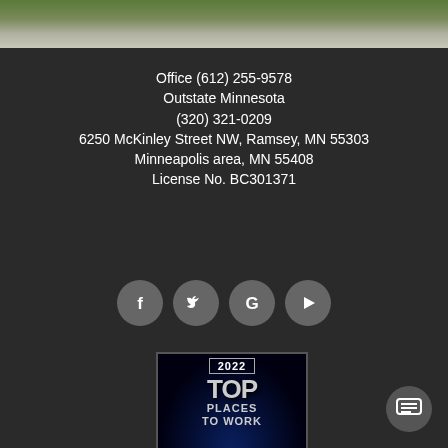[Figure (photo): Partial photo strip at top showing grass and concrete/pavement]
Office (612) 255-9578
Outstate Minnesota
(320) 321-0209
6250 McKinley Street NW, Ramsey, MN 55303
Minneapolis area, MN 55408
License No. BC301371
[Figure (infographic): Social media icons: Facebook, Twitter, Google, YouTube — circular gray buttons]
[Figure (infographic): 2022 Top Places to Work badge/award logo on dark background]